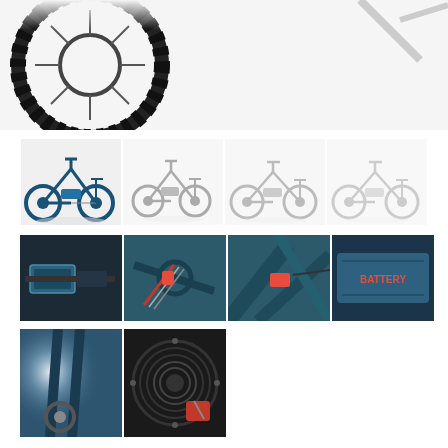[Figure (photo): Close-up top portion of an electric bicycle wheel and frame on white background]
[Figure (photo): Four thumbnail views of a dark-colored electric mountain bicycle from different angles: front-left 3/4 view, front angled, side-left view, and side-right view]
[Figure (photo): Four close-up detail photos of an electric bicycle: handlebar display/phone mount, handlebar stem area with cables, frame junction with red reflector, and battery pack with brand label]
[Figure (photo): Two close-up detail photos of an electric bicycle: front fork/brake area with lens flare, and rear derailleur/cassette gear cluster]